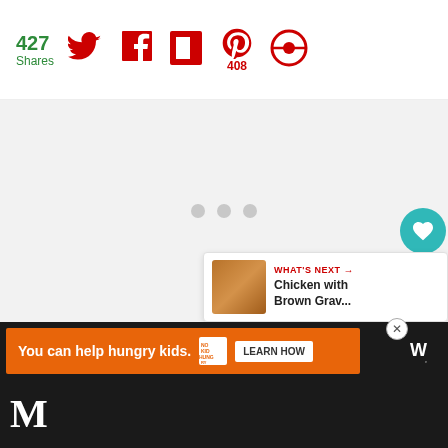427 Shares
[Figure (screenshot): Social sharing toolbar with Twitter, Facebook, Flipboard, Pinterest (408), and another share icon]
[Figure (screenshot): Content loading area with three gray dots indicating loading state]
[Figure (screenshot): Floating heart (favorite) button in teal and share button in white]
[Figure (screenshot): What's Next panel showing Chicken with Brown Grav... with food thumbnail]
[Figure (screenshot): Advertisement banner: You can help hungry kids. No Kid Hungry. Learn How. with close button]
[Figure (screenshot): Bottom dark bar with site logo M and dots]